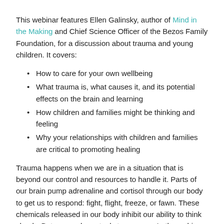This webinar features Ellen Galinsky, author of Mind in the Making and Chief Science Officer of the Bezos Family Foundation, for a discussion about trauma and young children. It covers:
How to care for your own wellbeing
What trauma is, what causes it, and its potential effects on the brain and learning
How children and families might be thinking and feeling
Why your relationships with children and families are critical to promoting healing
Trauma happens when we are in a situation that is beyond our control and resources to handle it. Parts of our brain pump adrenaline and cortisol through our body to get us to respond: fight, flight, freeze, or fawn. These chemicals released in our body inhibit our ability to think clearly. But we can learn tools to manage. In the webinar, Ellen provides the following tips:
Be curious about yourself and your reactions; this moves us toward healing
Be curious about others; ask questions and think about